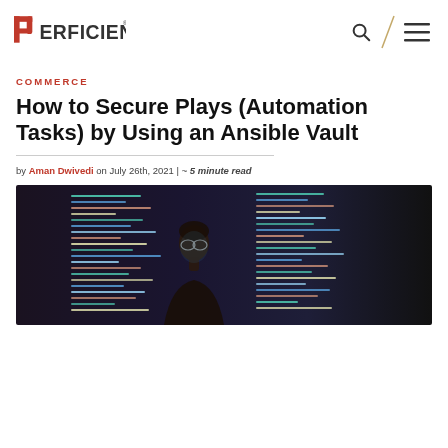Perficient
COMMERCE
How to Secure Plays (Automation Tasks) by Using an Ansible Vault
by Aman Dwivedi on July 26th, 2021 | ~ 5 minute read
[Figure (photo): Person with glasses sitting in front of two monitors displaying colorful code]